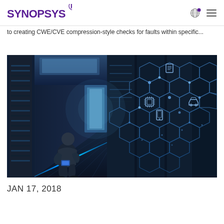SYNOPSYS
to creating CWE/CVE compression-style checks for faults within specific...
[Figure (photo): Person crouching in a data center server room aisle, overlaid with a glowing blue hexagonal network pattern featuring technology icons (server, phone, car, document) on the right side, suggesting IoT or cybersecurity concept.]
JAN 17, 2018